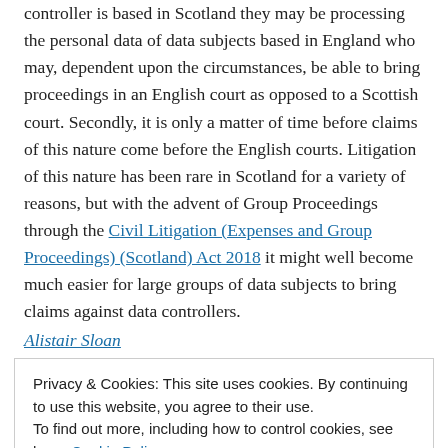controller is based in Scotland they may be processing the personal data of data subjects based in England who may, dependent upon the circumstances, be able to bring proceedings in an English court as opposed to a Scottish court. Secondly, it is only a matter of time before claims of this nature come before the English courts. Litigation of this nature has been rare in Scotland for a variety of reasons, but with the advent of Group Proceedings through the Civil Litigation (Expenses and Group Proceedings) (Scotland) Act 2018 it might well become much easier for large groups of data subjects to bring claims against data controllers.
Alistair Sloan
Privacy & Cookies: This site uses cookies. By continuing to use this website, you agree to their use.
To find out more, including how to control cookies, see here: Cookie Policy